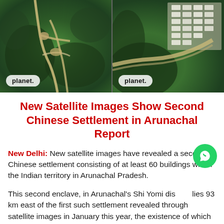[Figure (photo): Two side-by-side satellite images from Planet Labs showing a forested mountainous area. The left image shows terrain with roads/paths visible through green forest. The right image shows the same or nearby area with visible white structures/buildings in the upper right portion of the image. Both images have a 'planet.' watermark badge in the lower left corner.]
New Satellite Images Show Second Chinese Settlement in Arunachal Report
New Delhi: New satellite images have revealed a second Chinese settlement consisting of at least 60 buildings within the Indian territory in Arunachal Pradesh.
This second enclave, in Arunachal's Shi Yomi district, lies 93 km east of the first such settlement revealed through satellite images in January this year, the existence of which was confirmed by a report submitted by the US Department of Defence (DOD) to the country's